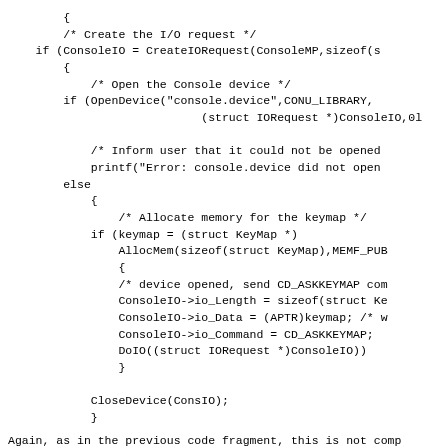{
        /* Create the I/O request */
    if (ConsoleIO = CreateIORequest(ConsoleMP,sizeof(s
        {
            /* Open the Console device */
        if (OpenDevice("console.device",CONU_LIBRARY,
                            (struct IORequest *)ConsoleIO,0l

            /* Inform user that it could not be opened
            printf("Error: console.device did not open
        else
            {
                /* Allocate memory for the keymap */
            if (keymap = (struct KeyMap *)
                AllocMem(sizeof(struct KeyMap),MEMF_PUB
                {
                /* device opened, send CD_ASKKEYMAP com
                ConsoleIO->io_Length = sizeof(struct Ke
                ConsoleIO->io_Data = (APTR)keymap; /* w
                ConsoleIO->io_Command = CD_ASKKEYMAP;
                DoIO((struct IORequest *)ConsoleIO))
                }

            CloseDevice(ConsIO);
            }
Again, as in the previous code fragment, this is not comp
it's a fragment!) and you should only use it as a guide.